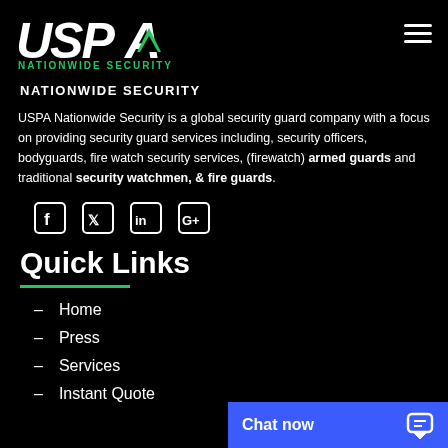USPA NATIONWIDE SECURITY
NATIONWIDE SECURITY
USPA Nationwide Security is a global security guard company with a focus on providing security guard services including, security officers, bodyguards, fire watch security services, (firewatch) armed guards and traditional security watchmen, & fire guards.
[Figure (infographic): Social media icons: Facebook, Twitter, LinkedIn, Google+]
Quick Links
Home
Press
Services
Instant Quote